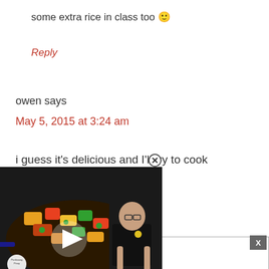some extra rice in class too 🙂
Reply
owen says
May 5, 2015 at 3:24 am
i guess it's delicious and I'll try to cook
[Figure (screenshot): Video thumbnail showing a pan of colorful stir-fried dish with a man in black t-shirt, play button overlay, and Panlasang Pinoy logo]
jove
April